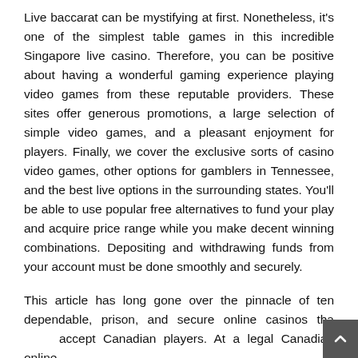Live baccarat can be mystifying at first. Nonetheless, it's one of the simplest table games in this incredible Singapore live casino. Therefore, you can be positive about having a wonderful gaming experience playing video games from these reputable providers. These sites offer generous promotions, a large selection of simple video games, and a pleasant enjoyment for players. Finally, we cover the exclusive sorts of casino video games, other options for gamblers in Tennessee, and the best live options in the surrounding states. You'll be able to use popular free alternatives to fund your play and acquire price range while you make decent winning combinations. Depositing and withdrawing funds from your account must be done smoothly and securely.
This article has long gone over the pinnacle of ten dependable, prison, and secure online casinos that accept Canadian players. At a legal Canadian online